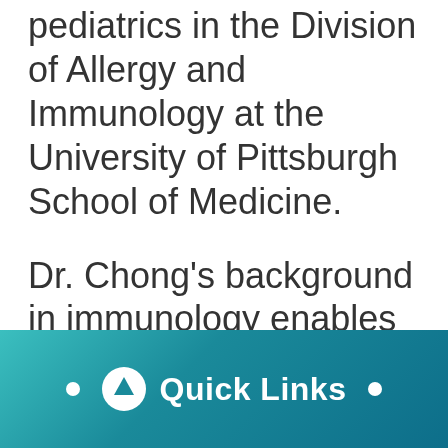pediatrics in the Division of Allergy and Immunology at the University of Pittsburgh School of Medicine.
Dr. Chong's background in immunology enables her to draw on a network of researchers and specialized labs around the country, who
[Figure (infographic): Teal gradient bar at bottom with Quick Links button featuring an upward arrow icon and two white bullet dots on either side]